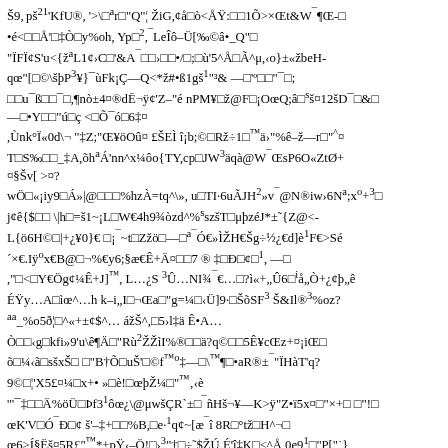Š9, pš²¹'KfU®, '>\□ᵃr□"Q"¦ ŽiG,¢å□ò<ÅŸ:□□1Õ>×Œt&W¯¶Œ-□
•é<□□Å'□‡Ò□y%oh, Yp□², ¯LeÎô–Ü[‰©â•_Q"□
"ÏFÏ¢S'u<{žᵃL1¢›C□'&A¯□□›□□•/□;□ù'5^Å□Ã^μ,‹o}±«žbeH-
qœ"[□©\šþP³¥}¯ùFk¡Ç—Q<*ž#•ß1gš¹"³& —□'º□□"¯□;
□□u¯ß□□¯□,¶nò±4¤®dĒ¬ÿ¢'Z–"é nPM¥□ž@F□¡OœQ;â□ˢš¤12šD¯□&□
—□•Y□□"ú□ç <□Õ¯ó□6‡¤
,Ùnk°Ï«0d\¬ "‡Z;"Œ¥öOû¤ £ŠEÌ î¡b;©□Rž÷1□™ä›"%ê–ž—r□"^¤
T□S‰□□_‡A,õhᵃÁ'nn^x¼ôo{TY,cp□JW³äqà@W¯ŒsP6O«ZtØ+
¤§Šv[ >¤?
wÖ□«¡iy9□Á»|@□□□%hzÀ=tq^\», u□TI·6uÃJH²»v¯@N®iw›6Nᵃ;xᵒ+³□
j¢ê{$□□ \|h□=š1~¡L□W€4h9¾òzd^%ˢszšT□μþzéJ*±˜{Z@<-
L{ö6H©□|+¿¥0}€ □¡¯~t□Zžö□—□ᵃ¯Ó€»ÌŽH€Šg÷½¿€d]è¹F€>Sé
´×€.Iÿᵒx€B@□¬%€y6;§æ€Ê+Ä¤□□7 ® ‡□Đ□¢□¹, —□
,"□<□Y€Ög¢¼Ê+J]™, L…¿S ³Û…NI¾¯€…□?ì«+„Û6□¦å„Ò+¿¢þ„ê
ÉŸy…A□ìœ^…h k–i„I□¬Œa□"g=¼□‹Ü]9·□ŠõSF³ Š&Il®³%oz?
ᵃᵃ_%o5ð¦□^«+±¢$^… ážŠ^,□5›l‡ä Ê•A…
Ò□□‹g□kfi»9'u\ê¶Ä□"Rù²ŽŽìI%®□□ä?q©□□5Ê¥cŒz+¤¡iŒ□
õ□¼‹ã□sšxŠ□ □"B†Õ□uŠ'□©f™ᵒ‡—□\™¶□•aR®±¯"ÏHàT'q?
9©□¦'X5£¤¼□x+• »□è!□œþŽ¼□"™,‹è
'"¯‡□□Ä%öÜ□Þf3¹ôœ¿\@μwšÇR`±□¯ñHš¬¥—K>ÿ"Z•ï5x¤□"×+□ □"!□
œK'V□Ó¯Đ□¢ š'–‡+□□%B,□e·¹q¢~[æ¯î 8R□°tž□H^¬□
œ6>Í§Ëš¤5R£"™*+pŸ‹–Ö!□›³"†□÷˜$ŽÚ É'î‡K□<^Å,0e9¹□"P["˙}
¥ŸQæ¯□þ£-H.«'¡□>¤§RŸ254£$œ+aŸ□™_!□›8•F□□—šŽí
ï'f‡e□h^ `,NÓôr□j3Â.s%l5°Vt#n#žbu□oîŒJuôq¦z□vÜs[gzwÆtøTaxᵃv□◌
zÓ?¹xd{–